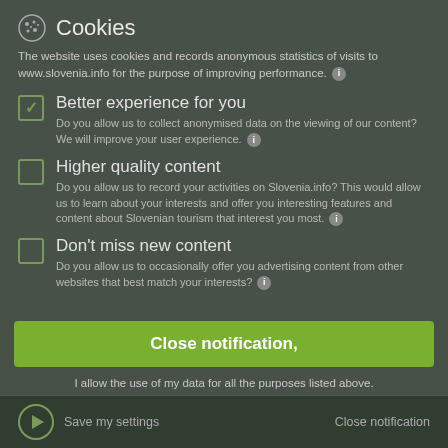Cookies
The website uses cookies and records anonymous statistics of visits to www.slovenia.info for the purpose of improving performance.
Better experience for you — Do you allow us to collect anonymised data on the viewing of our content? We will improve your user experience.
Higher quality content — Do you allow us to record your activities on Slovenia.info? This would allow us to learn about your interests and offer you interesting features and content about Slovenian tourism that interest you most.
Don't miss new content — Do you allow us to occasionally offer you advertising content from other websites that best match your interests?
Close notification,
I allow the use of my data for all the purposes listed above.
Save my settings    Close notification